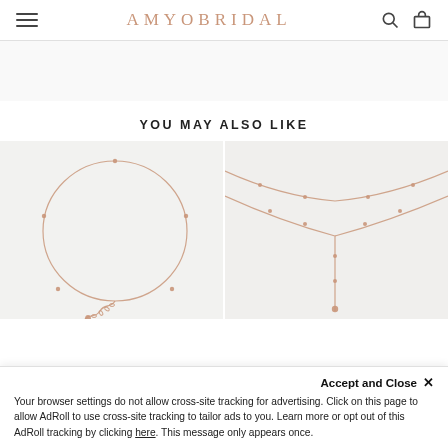AMYOBRIDAL
YOU MAY ALSO LIKE
[Figure (photo): Close-up photo of a rose gold delicate chain necklace/anklet with small bead accents and an extender chain with a small drop charm, on a light gray background.]
[Figure (photo): Close-up photo of a layered rose gold delicate satellite chain necklace with small bead accents forming a Y-shape lariat style, on a light gray background.]
Accept and Close ✕
Your browser settings do not allow cross-site tracking for advertising. Click on this page to allow AdRoll to use cross-site tracking to tailor ads to you. Learn more or opt out of this AdRoll tracking by clicking here. This message only appears once.